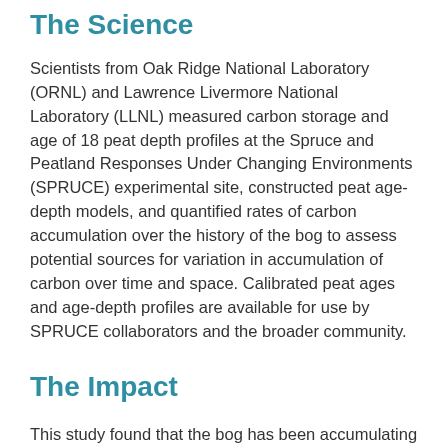The Science
Scientists from Oak Ridge National Laboratory (ORNL) and Lawrence Livermore National Laboratory (LLNL) measured carbon storage and age of 18 peat depth profiles at the Spruce and Peatland Responses Under Changing Environments (SPRUCE) experimental site, constructed peat age-depth models, and quantified rates of carbon accumulation over the history of the bog to assess potential sources for variation in accumulation of carbon over time and space. Calibrated peat ages and age-depth profiles are available for use by SPRUCE collaborators and the broader community.
The Impact
This study found that the bog has been accumulating carbon in peat for over 11,000